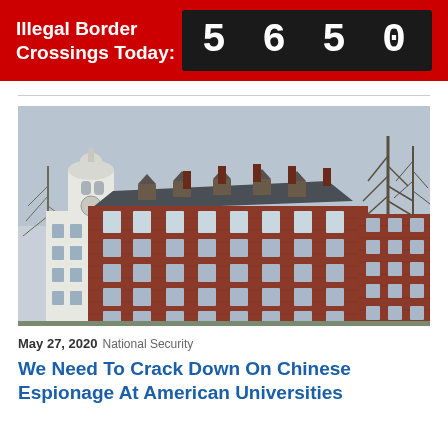Illegal Border Crossings Today: 5650
[Figure (photo): Aerial or elevated view of Harvard University brick buildings with a white domed clock tower on the left, red-brick multi-story dormitory buildings in the center, and bare winter trees on the right against a grey sky.]
May 27, 2020 National Security
We Need To Crack Down On Chinese Espionage At American Universities